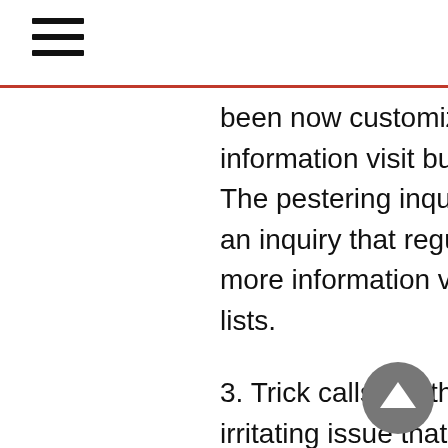been now customized into the telephone For more information visit buy mobile phone number lists. The pestering inquiries regarding who is calling, is an inquiry that regularly needs a fast answer For more information visit buy mobile phone number lists.
3. Trick calls are the same old thing. A similar irritating issue that has tormented land line telephone proprietors likewise is an aggravation to phone clients For more information visit buy mobile phone number lists. We as a whole need to realize who is settling on these irritating decisions. We have practically completely been on the opposite finish of a trick call. I've been there ordinarily, and by utilizing a converse look into telephone number index I had the